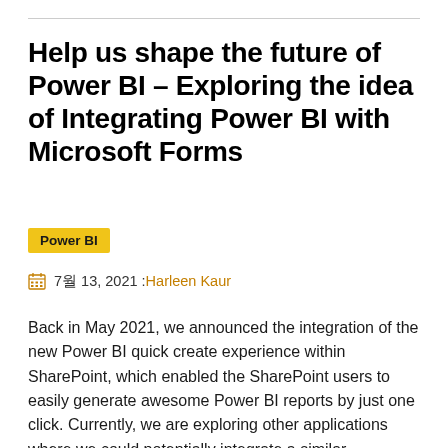Help us shape the future of Power BI – Exploring the idea of Integrating Power BI with Microsoft Forms
Power BI
7월 13, 2021 :Harleen Kaur
Back in May 2021, we announced the integration of the new Power BI quick create experience within SharePoint, which enabled the SharePoint users to easily generate awesome Power BI reports by just one click. Currently, we are exploring other applications where we could potentially integrate a similar experience and one of the application that